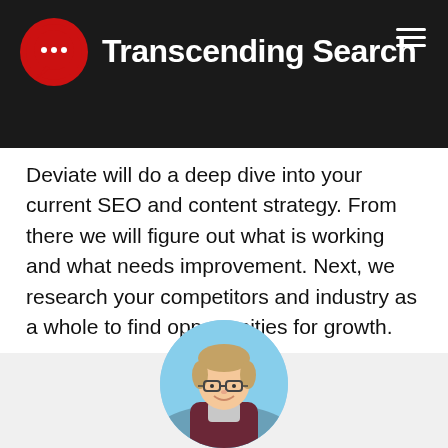Transcending Search
Deviate will do a deep dive into your current SEO and content strategy. From there we will figure out what is working and what needs improvement. Next, we research your competitors and industry as a whole to find opportunities for growth.
[Figure (photo): Circular profile photo of a young man with glasses and dark red/maroon shirt, smiling, with a blue sky background]